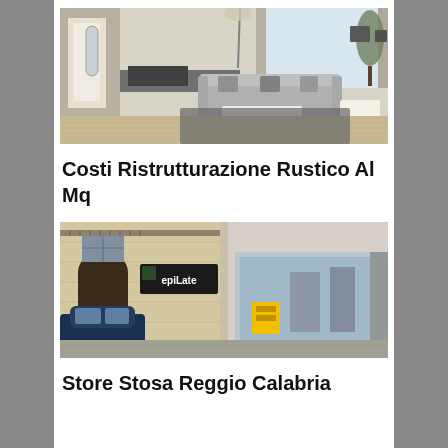[Figure (photo): Interior photo of a modern living room with grey sofa, white coffee table, wooden floor, large windows, and TV on a media console]
Costi Ristrutturazione Rustico Al Mq
[Figure (photo): Street-level photo of a commercial building in an Italian city, showing an epiLate store with a black sign, historic stone archway, a blue car parked, and a clothing store on the right]
Store Stosa Reggio Calabria